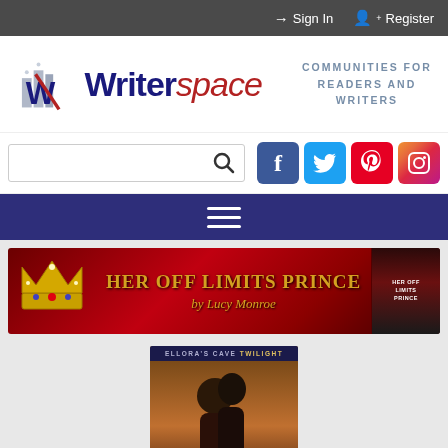Sign In  Register
[Figure (logo): Writerspace logo with buildings icon and tagline: COMMUNITIES FOR READERS AND WRITERS]
[Figure (screenshot): Search bar with magnifying glass icon and social media icons: Facebook, Twitter, Pinterest, Instagram]
[Figure (screenshot): Dark blue navigation bar with hamburger menu icon]
[Figure (infographic): Red banner ad for 'Her Off Limits Prince by Lucy Monroe' with gold crown on left and book cover on right]
[Figure (photo): Book cover for Ellora's Cave Twilight romance novel showing couple embracing]